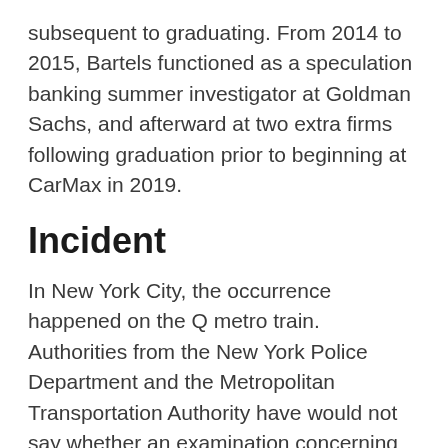subsequent to graduating. From 2014 to 2015, Bartels functioned as a speculation banking summer investigator at Goldman Sachs, and afterward at two extra firms following graduation prior to beginning at CarMax in 2019.
Incident
In New York City, the occurrence happened on the Q metro train. Authorities from the New York Police Department and the Metropolitan Transportation Authority have would not say whether an examination concerning the episode is in progress. As per the MTA, veils are needed on New York City metros. In a viral video, a man yelled “1776!” at a lady on the tram. The lady